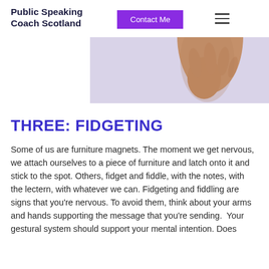Public Speaking Coach Scotland
[Figure (photo): Close-up photo of a person's hand and lower arm against a light purple/lavender background, suggesting a public speaking or body language context.]
THREE: FIDGETING
Some of us are furniture magnets. The moment we get nervous, we attach ourselves to a piece of furniture and latch onto it and stick to the spot. Others, fidget and fiddle, with the notes, with the lectern, with whatever we can. Fidgeting and fiddling are signs that you’re nervous. To avoid them, think about your arms and hands supporting the message that you’re sending. Your gestural system should support your mental intention. Does